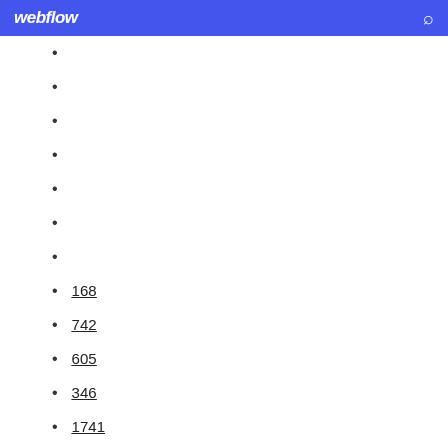webflow
168
742
605
346
1741
801